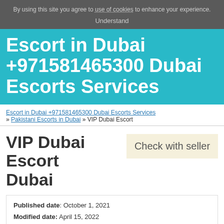By using this site you agree to use of cookies to enhance your experience. Understand
Escort in Dubai +971581465300 Dubai Escorts Services
Escort in Dubai +971581465300 Dubai Escorts Services » Pakistani Escorts in Dubai » VIP Dubai Escort
VIP Dubai Escort Dubai
Check with seller
Published date: October 1, 2021
Modified date: April 15, 2022
Location: Dubai, Dubai, Dubai, UAE